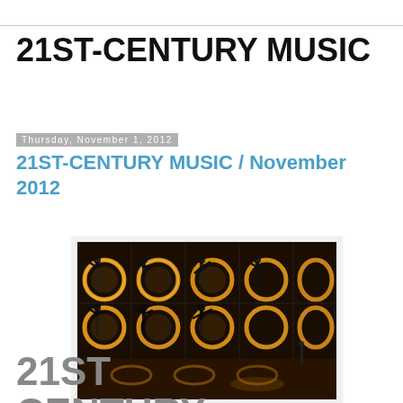21ST-CENTURY MUSIC
Thursday, November 1, 2012
21ST-CENTURY MUSIC / November 2012
[Figure (photo): Stage performance with silhouetted performers against a grid of glowing amber/gold circular light installations arranged in a 4x3 grid pattern on stage panels]
21ST CENTURY